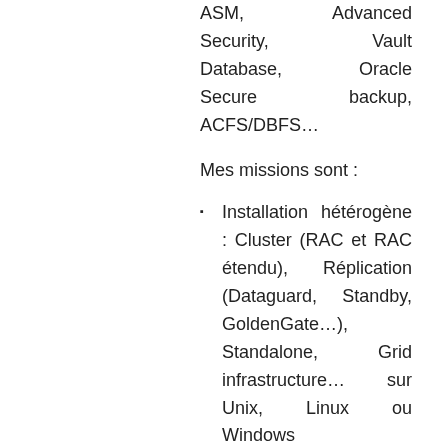ASM, Advanced Security, Vault Database, Oracle Secure backup, ACFS/DBFS…
Mes missions sont :
Installation hétérogène : Cluster (RAC et RAC étendu), Réplication (Dataguard, Standby, GoldenGate…), Standalone, Grid infrastructure… sur Unix, Linux ou Windows
Sécurisation : Oracle Database Vault, Transparent Data